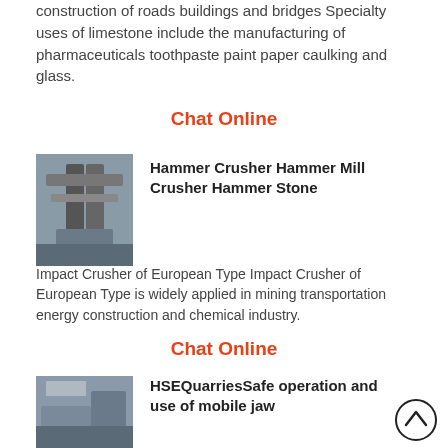construction of roads buildings and bridges Specialty uses of limestone include the manufacturing of pharmaceuticals toothpaste paint paper caulking and glass.
Chat Online
[Figure (photo): Industrial hammer crusher / mill machine in a factory setting]
Hammer Crusher Hammer Mill Crusher Hammer Stone
Impact Crusher of European Type Impact Crusher of European Type is widely applied in mining transportation energy construction and chemical industry.
Chat Online
[Figure (photo): Mobile jaw crusher / quarry equipment outdoors]
HSEQuarriesSafe operation and use of mobile jaw